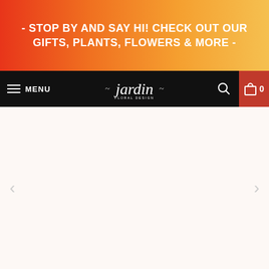- STOP BY AND SAY HI! CHECK OUT OUR GIFTS, PLANTS, FLOWERS & MORE -
[Figure (screenshot): Navigation bar with hamburger menu icon, MENU label, Jardin Floral Design script logo in center, search icon, and red cart icon with 0 count]
[Figure (screenshot): Product image carousel area with light peachy-white background and left/right navigation arrows]